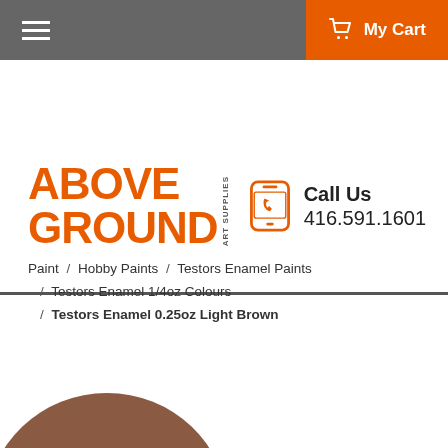Navigation bar with hamburger menu and My Cart button
[Figure (logo): Above Ground Art Supplies logo in orange with phone number 416.591.1601]
Paint / Hobby Paints / Testors Enamel Paints / Testors Enamel 1/4oz Colours / Testors Enamel 0.25oz Light Brown
[Figure (photo): Close-up top view of a light brown paint swatch/blob on white background]